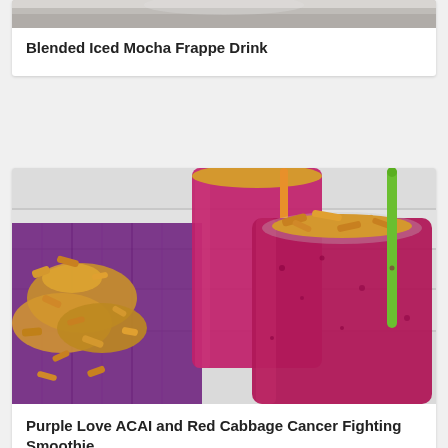[Figure (photo): Top portion of a blended iced mocha frappe drink photo, cropped at the top of the page]
Blended Iced Mocha Frappe Drink
[Figure (photo): Two tall glasses of purple/magenta smoothie topped with granola, with a green straw, and granola scattered on a purple cloth on a white wooden surface]
Purple Love ACAI and Red Cabbage Cancer Fighting Smoothie